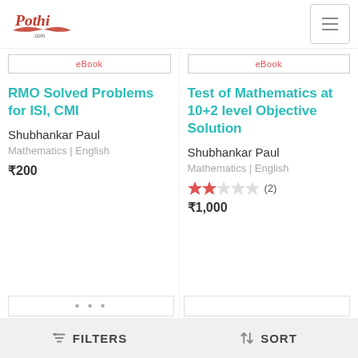Pothi.com
eBook
eBook
RMO Solved Problems for ISI, CMI
Shubhankar Paul
Mathematics | English
₹200
Test of Mathematics at 10+2 level Objective Solution
Shubhankar Paul
Mathematics | English
(2)
₹1,000
FILTERS   SORT